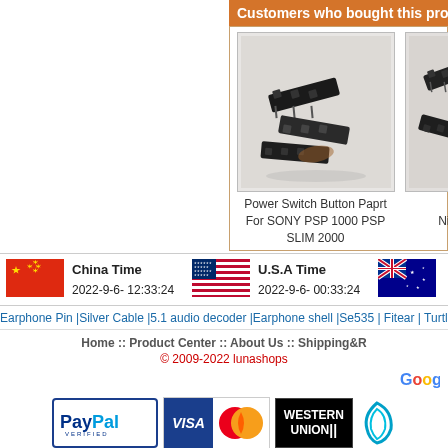Customers who bought this product also purchaged t
[Figure (photo): Product photo: Power Switch Button parts for SONY PSP 1000 PSP SLIM 2000 - dark colored slide switch components on light background]
Power Switch Button Paprt For SONY PSP 1000 PSP SLIM 2000
[Figure (photo): Product photo: Power Switch for Ninteddo DS Lite NEW - dark slide switch components]
Power Switch Ninteddo DS Lite NEW
[Figure (photo): Chinese flag]
China Time
2022-9-6- 12:33:24
[Figure (photo): US flag]
U.S.A Time
2022-9-6- 00:33:24
[Figure (photo): Australian flag]
Earphone Pin |Silver Cable |5.1 audio decoder |Earphone shell |Se535 | Fitear | Turtle Beach |Westone
Home :: Product Center :: About Us :: Shipping&R
© 2009-2022 lunashops
[Figure (logo): Google logo]
[Figure (logo): PayPal Verified logo]
[Figure (logo): Visa card logo]
[Figure (logo): MasterCard logo]
[Figure (logo): Western Union logo]
[Figure (logo): Swirl/curved logo]